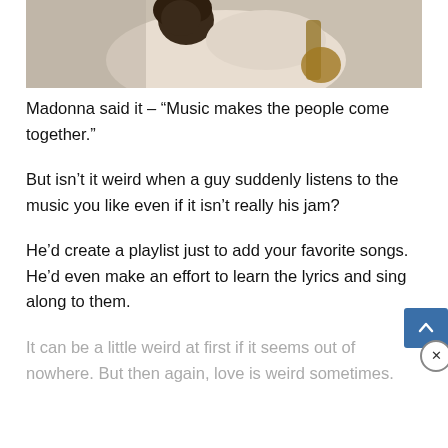[Figure (photo): A person with curly hair sitting and playing a guitar, photographed from behind, wearing a light beige/cream outfit]
Madonna said it – “Music makes the people come together.”
But isn’t it weird when a guy suddenly listens to the music you like even if it isn’t really his jam?
He’d create a playlist just to add your favorite songs. He’d even make an effort to learn the lyrics and sing along to them.
It can be a little weird at first if it seems out of nowhere. But then again, love is weird sometimes.